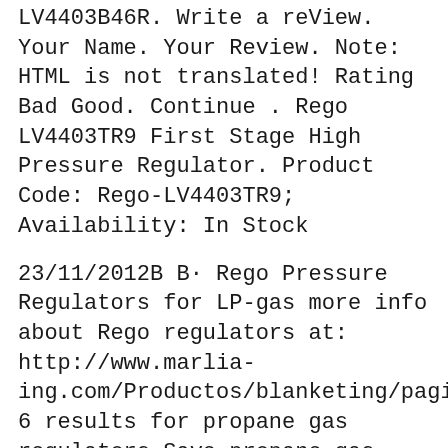LV4403B46R. Write a reView. Your Name. Your Review. Note: HTML is not translated! Rating Bad Good. Continue . Rego LV4403TR9 First Stage High Pressure Regulator. Product Code: Rego-LV4403TR9; Availability: In Stock
23/11/2012B B· Rego Pressure Regulators for LP-gas more info about Rego regulators at: http://www.marlia-ing.com/Productos/blanketing/pagina_eng.htm 6 results for propane gas regulators Save propane gas regulators to get e-mail alerts and updates on your eBay Feed. Unfollow propane gas regulators to stop getting updates on your eBay Feed.